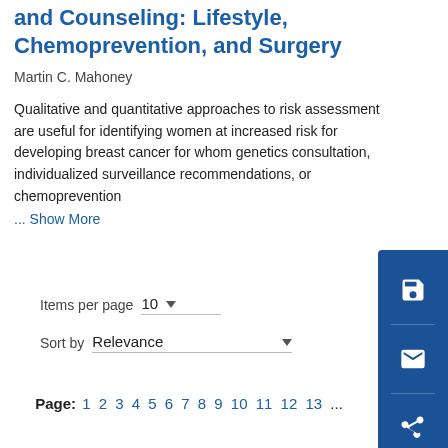and Counseling: Lifestyle, Chemoprevention, and Surgery
Martin C. Mahoney
Qualitative and quantitative approaches to risk assessment are useful for identifying women at increased risk for developing breast cancer for whom genetics consultation, individualized surveillance recommendations, or chemoprevention
... Show More
Items per page 10
Sort by Relevance
Page: 1 2 3 4 5 6 7 8 9 10 11 12 13 ...